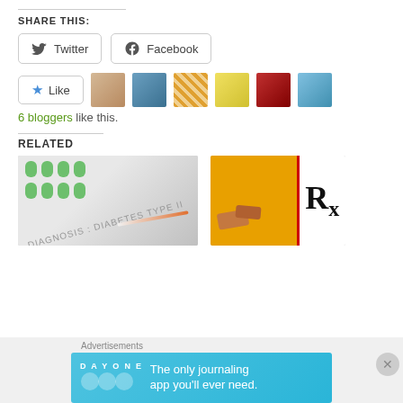SHARE THIS:
[Figure (screenshot): Twitter and Facebook share buttons]
[Figure (screenshot): Like button with 6 blogger avatars]
6 bloggers like this.
RELATED
[Figure (photo): Diabetes Type II diagnosis photo with pills and syringes]
[Figure (photo): Rx prescription medication photo]
Advertisements
[Figure (screenshot): Day One journaling app advertisement banner: The only journaling app you'll ever need.]